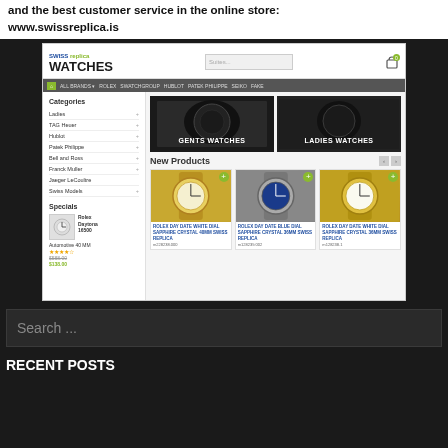and the best customer service in the online store: www.swissreplica.is
[Figure (screenshot): Screenshot of swissreplica.is website showing Swiss Watches online store with navigation bar, categories sidebar, banner images for Gents Watches and Ladies Watches, New Products section with three Rolex Day-Date watch listings, and a Specials section in the sidebar.]
Search ...
RECENT POSTS